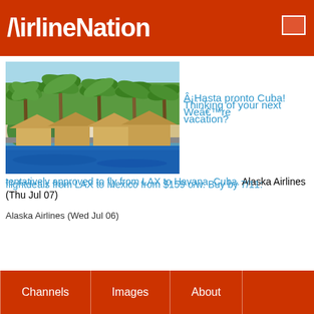AirlineNation
[Figure (photo): Aerial or waterfront view of Havana, Cuba cityscape with historic buildings and dome]
¡Hasta pronto Cuba! Weâ€™re tentatively approved to fly from LAX to Havana, Cuba. Alaska Airlines (Thu Jul 07)
[Figure (photo): Tropical resort with palm trees and thatched huts over a blue pool/water]
Thinking of your next vacation? flightdeals from LAX to Mexico from $159 o/w. Buy by 7/11: Alaska Airlines (Wed Jul 06)
Channels    Images    About